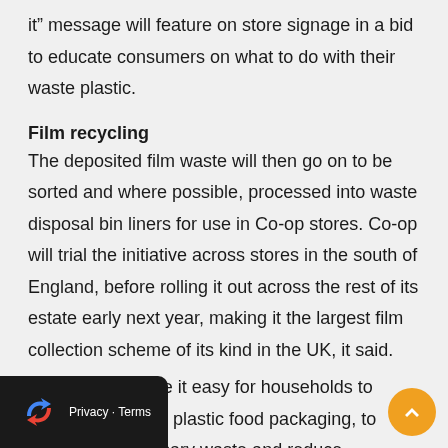it" message will feature on store signage in a bid to educate consumers on what to do with their waste plastic.
Film recycling
The deposited film waste will then go on to be sorted and where possible, processed into waste disposal bin liners for use in Co-op stores. Co-op will trial the initiative across stores in the south of England, before rolling it out across the rest of its estate early next year, making it the largest film collection scheme of its kind in the UK, it said.
"We want to make it easy for households to recycle all of their plastic food packaging, to prevent unnecessary waste and reduce